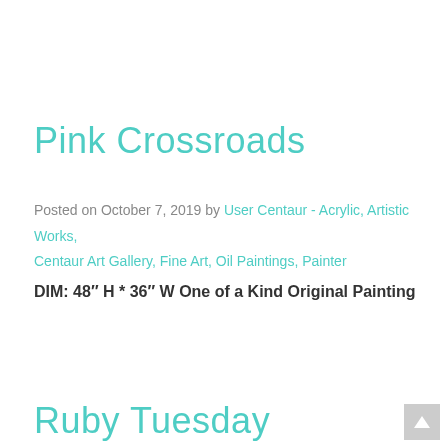Pink Crossroads
Posted on October 7, 2019 by User Centaur - Acrylic, Artistic Works, Centaur Art Gallery, Fine Art, Oil Paintings, Painter
DIM: 48″ H * 36″ W One of a Kind Original Painting
Ruby Tuesday